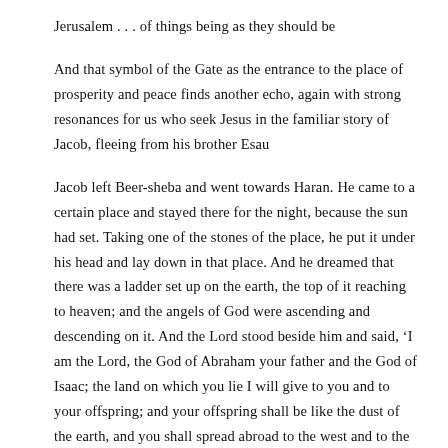Jerusalem . . . of things being as they should be
And that symbol of the Gate as the entrance to the place of prosperity and peace finds another echo, again with strong resonances for us who seek Jesus in the familiar story of Jacob, fleeing from his brother Esau
Jacob left Beer-sheba and went towards Haran. He came to a certain place and stayed there for the night, because the sun had set. Taking one of the stones of the place, he put it under his head and lay down in that place. And he dreamed that there was a ladder set up on the earth, the top of it reaching to heaven; and the angels of God were ascending and descending on it. And the Lord stood beside him and said, ‘I am the Lord, the God of Abraham your father and the God of Isaac; the land on which you lie I will give to you and to your offspring; and your offspring shall be like the dust of the earth, and you shall spread abroad to the west and to the east and to the north and to the south; and all the families of the earth shall be blessed in you and in your offspring. Know that I am with you and will keep you wherever you go, and will